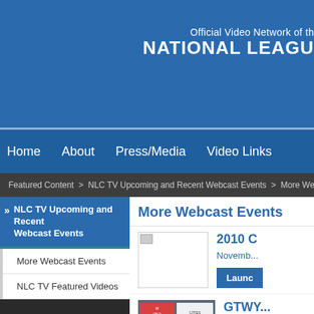Official Video Network of the NATIONAL LEAGUE
Home  About  Press/Media  Video Links
Featured Content > NLC TV Upcoming and Recent Webcast Events > More Web...
NLC TV Upcoming and Recent Webcast Events
More Webcast Events
NLC TV Featured Videos
More Webcast Events
[Figure (other): Broken image thumbnail placeholder for 2010 event]
2010 O...
Novemb...
Launch
[Figure (photo): Thumbnail image showing autism awareness world health event with text 'The Autism Today and Beyond']
GTWY... Series...
Novemb...